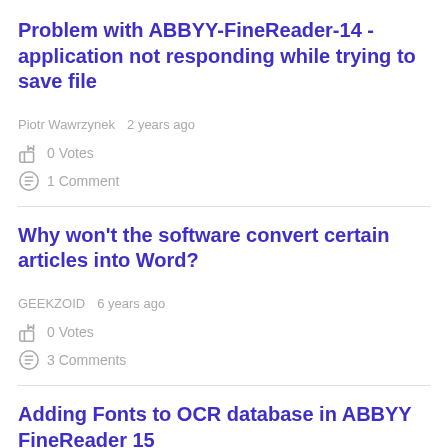Problem with ABBYY-FineReader-14 - application not responding while trying to save file
Piotr Wawrzynek   2 years ago
0 Votes
1 Comment
Why won't the software convert certain articles into Word?
GEEKZOID   6 years ago
0 Votes
3 Comments
Adding Fonts to OCR database in ABBYY FineReader 15